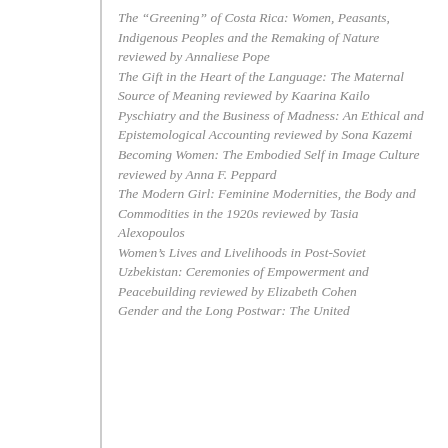The “Greening” of Costa Rica: Women, Peasants, Indigenous Peoples and the Remaking of Nature reviewed by Annaliese Pope
The Gift in the Heart of the Language: The Maternal Source of Meaning reviewed by Kaarina Kailo
Pyschiatry and the Business of Madness: An Ethical and Epistemological Accounting reviewed by Sona Kazemi
Becoming Women: The Embodied Self in Image Culture reviewed by Anna F. Peppard
The Modern Girl: Feminine Modernities, the Body and Commodities in the 1920s reviewed by Tasia Alexopoulos
Women’s Lives and Livelihoods in Post-Soviet Uzbekistan: Ceremonies of Empowerment and Peacebuilding reviewed by Elizabeth Cohen
Gender and the Long Postwar: The United